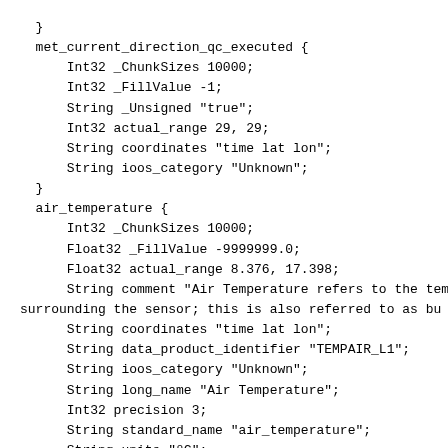}
met_current_direction_qc_executed {
    Int32 _ChunkSizes 10000;
    Int32 _FillValue -1;
    String _Unsigned "true";
    Int32 actual_range 29, 29;
    String coordinates "time lat lon";
    String ioos_category "Unknown";
}
air_temperature {
    Int32 _ChunkSizes 10000;
    Float32 _FillValue -9999999.0;
    Float32 actual_range 8.376, 17.398;
    String comment "Air Temperature refers to the temp
surrounding the sensor; this is also referred to as bu
    String coordinates "time lat lon";
    String data_product_identifier "TEMPAIR_L1";
    String ioos_category "Unknown";
    String long_name "Air Temperature";
    Int32 precision 3;
    String standard_name "air_temperature";
    String units "oC";
}
met_salsurf_qartod_results {
    Int32 _ChunkSizes 10000;
    Int32 _FillValue -1;